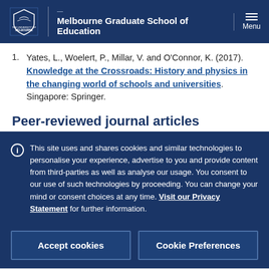Melbourne Graduate School of Education
Yates, L., Woelert, P., Millar, V. and O'Connor, K. (2017). Knowledge at the Crossroads: History and physics in the changing world of schools and universities. Singapore: Springer.
Peer-reviewed journal articles
This site uses and shares cookies and similar technologies to personalise your experience, advertise to you and provide content from third-parties as well as analyse our usage. You consent to our use of such technologies by proceeding. You can change your mind or consent choices at any time. Visit our Privacy Statement for further information.
Accept cookies | Cookie Preferences